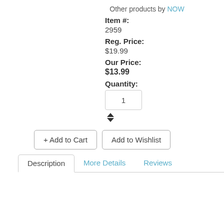Other products by NOW
Item #:
2959
Reg. Price:
$19.99
Our Price:
$13.99
Quantity:
1
+ Add to Cart
Add to Wishlist
Description
More Details
Reviews